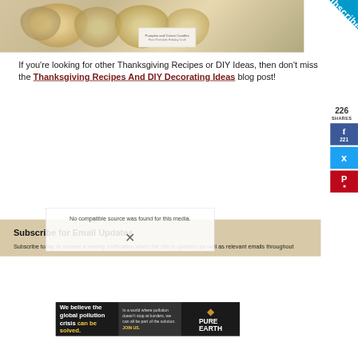[Figure (photo): Top photo of golden/cream pumpkins on a table, Thanksgiving decorative scene with a small badge overlay showing text]
[Figure (illustration): Blue triangle subscribe ribbon in top-right corner with text 'Subscribe']
If you're looking for other Thanksgiving Recipes or DIY Ideas, then don't miss the Thanksgiving Recipes And DIY Decorating Ideas blog post!
226 SHARES
[Figure (infographic): Social share sidebar with Facebook (221), Twitter, and Pinterest buttons]
Subscribe for Email Updates
Subscribe today to receive a weekly notification when the site is updated as well as relevant emails throughout
[Figure (other): Media not found overlay with close X button and Pure Earth advertisement banner at bottom]